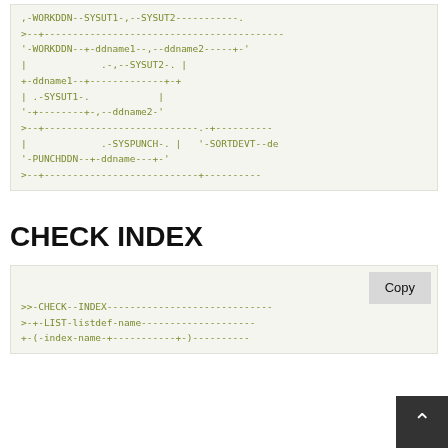[Figure (schematic): Railroad/syntax diagram fragment showing WORKDDN, SYSUT1, SYSUT2, ddname1, ddname2 options with box-drawing ASCII art in monospace green text]
CHECK INDEX
[Figure (schematic): Railroad/syntax diagram for CHECK INDEX command showing >>-CHECK--INDEX and >-+-LIST-listdef-name and >-(-index-name-+-) lines in monospace green text with Copy button]